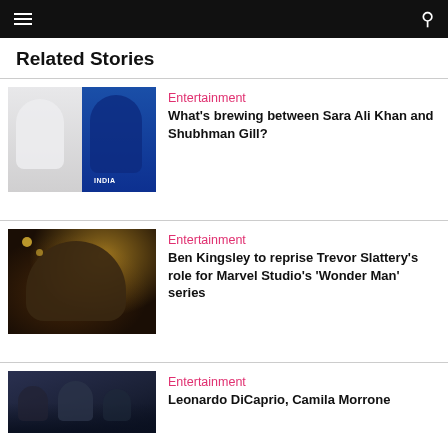≡  🔍
Related Stories
[Figure (photo): Photo of Sara Ali Khan and Shubhman Gill side by side]
Entertainment
What's brewing between Sara Ali Khan and Shubhman Gill?
[Figure (photo): Photo of Ben Kingsley as Trevor Slattery in a dark mystical setting with light orbs]
Entertainment
Ben Kingsley to reprise Trevor Slattery's role for Marvel Studio's 'Wonder Man' series
[Figure (photo): Photo of Leonardo DiCaprio and Camila Morrone in a crowd]
Entertainment
Leonardo DiCaprio, Camila Morrone